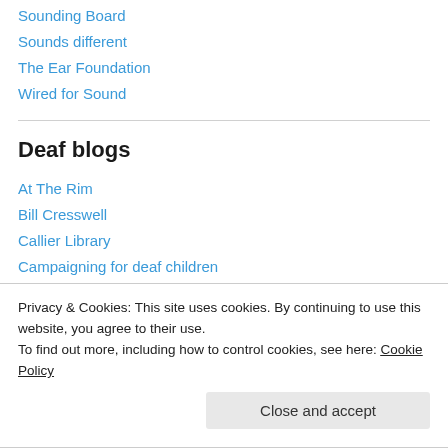Sounding Board
Sounds different
The Ear Foundation
Wired for Sound
Deaf blogs
At The Rim
Bill Cresswell
Callier Library
Campaigning for deaf children
Dave's Deaf Head
Privacy & Cookies: This site uses cookies. By continuing to use this website, you agree to their use.
To find out more, including how to control cookies, see here: Cookie Policy
Close and accept